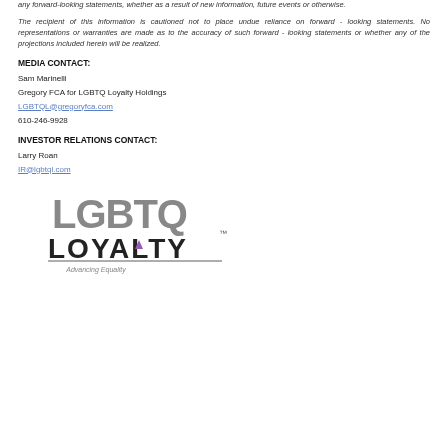any forward-looking statements, whether as a result of new information, future events or otherwise.
The recipient of this information is cautioned not to place undue reliance on forward - looking statements. No representations or warranties are made as to the accuracy of such forward - looking statements or whether any of the projections included herein will be realized.
MEDIA CONTACT:
Sam Marinelli
Gregory FCA for LGBTQ Loyalty Holdings
LGBTQL@gregoryfca.com
610-246-9928
INVESTOR RELATIONS CONTACT:
Larry Roan
IR@lgbtql.com
[Figure (logo): LGBTQ Loyalty logo with text 'Advancing Equality']